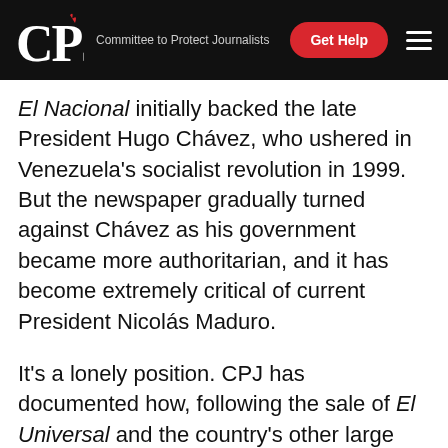CPJ — Committee to Protect Journalists | Get Help
El Nacional initially backed the late President Hugo Chávez, who ushered in Venezuela's socialist revolution in 1999. But the newspaper gradually turned against Chávez as his government became more authoritarian, and it has become extremely critical of current President Nicolás Maduro.
It's a lonely position. CPJ has documented how, following the sale of El Universal and the country's other large daily, Últimas Noticias, to business groups with close ties to the Maduro administration, those two newspapers appear to have softened their coverage of the government. Other independent newspapers, such as the Caracas